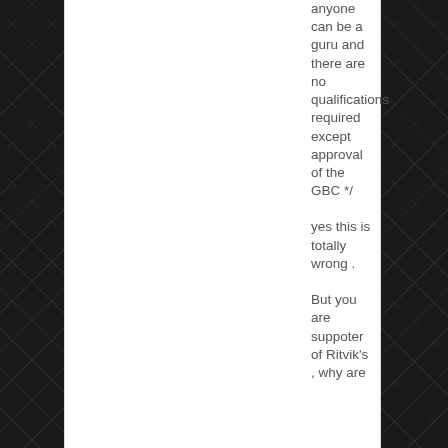anyone can be a guru and there are no qualifications required except approval of the GBC */
yes this is totally wrong .
But you are suppoter of Ritvik's , why are